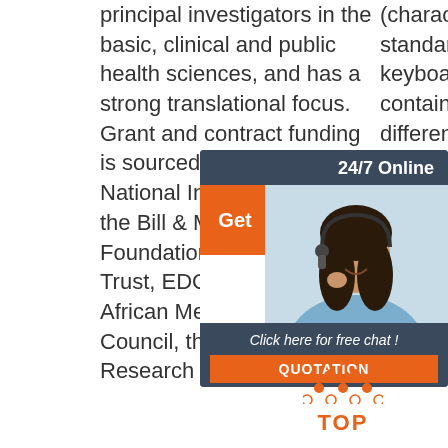principal investigators in the basic, clinical and public health sciences, and has a strong translational focus. Grant and contract funding is sourced from the US National Institutes of Health, the Bill & Melinda Gates Foundation, The Wellcome Trust, EDCTP, the South African Medical Research Council, the National Research Foundation of ...
(characters found on a standard US keyboard); must contain at least 4 different symbols;
[Figure (infographic): 24/7 Online chat widget with orange Get button, female customer service agent with headset, dark blue background, Click here for free chat! text, and orange QUOTATION button]
[Figure (infographic): Orange dotted triangle TOP button logo with orange bold TOP text beneath it]